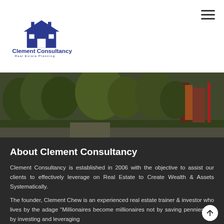[Figure (logo): Clement Consultancy logo with house icon, company name, tagline 'Real Estate Planning' and sub-tagline 'Build Wealth & Assets Systematically']
[Figure (photo): Outdoor landscape/street scene with trees and greenery, reddish-brown buildings in background]
About Clement Consultancy
Clement Consultancy is established in 2006 with the objective to assist our clients to effectively leverage on Real Estate to Create Wealth & Assets Systematically.
The founder, Clement Chew is an experienced real estate trainer & investor who lives by the adage “Millionaires become millionaires not by saving pennies but by investing and leveraging